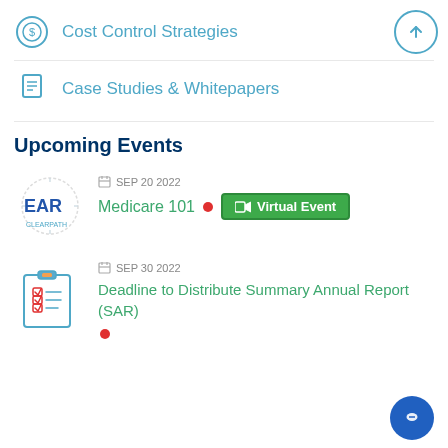Cost Control Strategies
Case Studies & Whitepapers
Upcoming Events
SEP 20 2022 — Medicare 101 • Virtual Event
SEP 30 2022 — Deadline to Distribute Summary Annual Report (SAR)